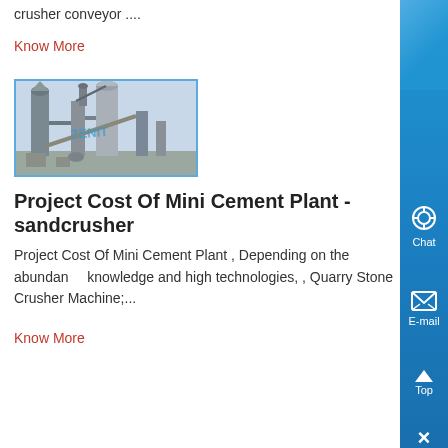crusher conveyor ....
Know More
[Figure (photo): Industrial cement plant with tall silo/separator towers and conveyor equipment. ZENIT watermark visible on the photo.]
Project Cost Of Mini Cement Plant - sandcrusher
Project Cost Of Mini Cement Plant , Depending on the abundance knowledge and high technologies, , Quarry Stone Crusher Machine;...
Know More